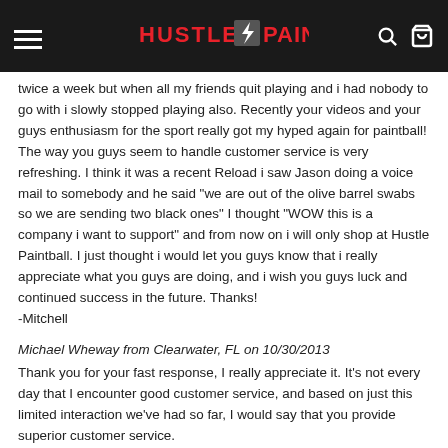Hustle Paintball
twice a week but when all my friends quit playing and i had nobody to go with i slowly stopped playing also. Recently your videos and your guys enthusiasm for the sport really got my hyped again for paintball! The way you guys seem to handle customer service is very refreshing. I think it was a recent Reload i saw Jason doing a voice mail to somebody and he said "we are out of the olive barrel swabs so we are sending two black ones" I thought "WOW this is a company i want to support" and from now on i will only shop at Hustle Paintball. I just thought i would let you guys know that i really appreciate what you guys are doing, and i wish you guys luck and continued success in the future. Thanks!
-Mitchell
Michael Wheway from Clearwater, FL on 10/30/2013
Thank you for your fast response, I really appreciate it. It's not every day that I encounter good customer service, and based on just this limited interaction we've had so far, I would say that you provide superior customer service.
Thomas Leake from Belle, WV on 10/28/2013
Ethan,
I'll let you know right now you have a customer for life as long as I need